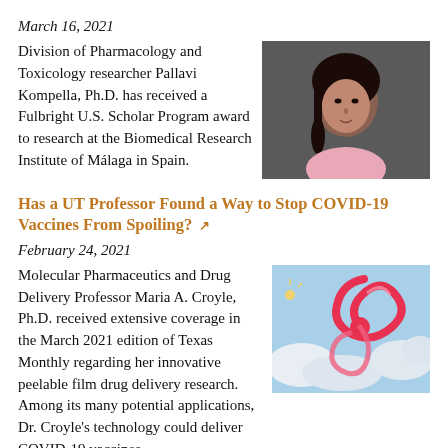March 16, 2021
Division of Pharmacology and Toxicology researcher Pallavi Kompella, Ph.D. has received a Fulbright U.S. Scholar Program award to research at the Biomedical Research Institute of Málaga in Spain.
[Figure (photo): Portrait photo of Pallavi Kompella, a woman with long dark hair wearing a light pink top against a dark background]
Has a UT Professor Found a Way to Stop COVID-19 Vaccines From Spoiling?
February 24, 2021
Molecular Pharmaceutics and Drug Delivery Professor Maria A. Croyle, Ph.D. received extensive coverage in the March 2021 edition of Texas Monthly regarding her innovative peelable film drug delivery research. Among its many potential applications, Dr. Croyle's technology could deliver COVID-19 vaccines
[Figure (photo): Illustration of a red spiral ribbon against a blue sky with clouds background, representing peelable film drug delivery research]